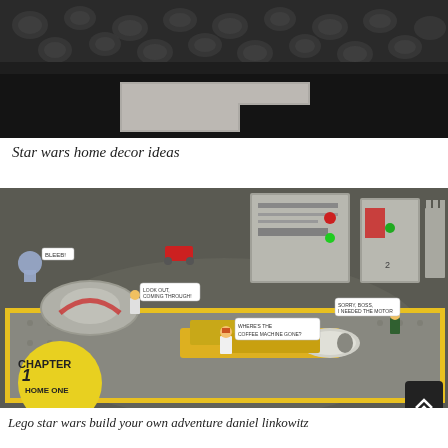[Figure (photo): Dark room scene with a floral/leaf patterned dark sofa/couch and a light gray shaggy rug on a dark floor]
Star wars home decor ideas
[Figure (photo): Lego Star Wars set showing a hangar scene with minifigures, a yellow and grey spacecraft, dome structures, and wall panels. Speech bubbles include 'BLEEB!', 'LOOK OUT, COMING THROUGH!', 'WHERE'S THE COFFEE MACHINE GONE?', 'SORRY, BOSS, I NEEDED THE MOTOR'. A yellow Chapter 1 Home One label is visible in the bottom left corner.]
Lego star wars build your own adventure daniel linkowitz